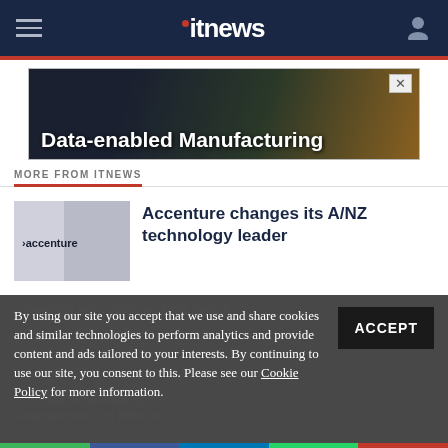itnews
[Figure (screenshot): Advertisement banner for Data-enabled Manufacturing]
MORE FROM ITNEWS
[Figure (photo): Accenture building exterior with logo]
Accenture changes its A/NZ technology leader
ConnectID sets sights on 2023 launch
EU close to mandating c... smartphones, not iPhones
By using our site you accept that we use and share cookies and similar technologies to perform analytics and provide content and ads tailored to your interests. By continuing to use our site, you consent to this. Please see our Cookie Policy for more information.